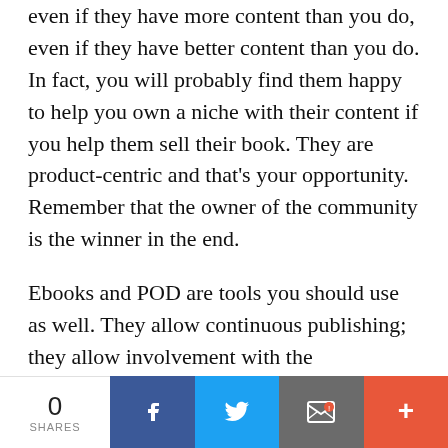even if they have more content than you do, even if they have better content than you do. In fact, you will probably find them happy to help you own a niche with their content if you help them sell their book. They are product-centric and that's your opportunity. Remember that the owner of the community is the winner in the end.
Ebooks and POD are tools you should use as well. They allow continuous publishing; they allow involvement with the community. They allow you to start businesses in new niches at lower risk. Harlequin, a very big niche
0 SHARES | Facebook | Twitter | Email | More